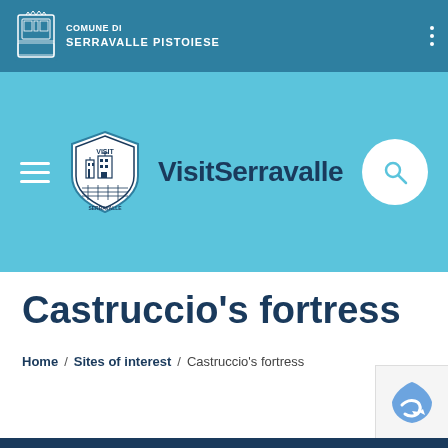Comune di Serravalle Pistoiese
[Figure (logo): VisitSerravalle navigation header with hamburger menu, shield logo, site name and search button on light blue background]
Castruccio's fortress
Home / Sites of interest / Castruccio's fortress